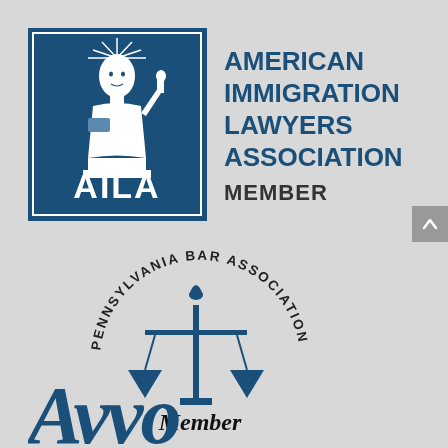[Figure (logo): AILA (American Immigration Lawyers Association) logo with Statue of Liberty icon in dark blue square and text 'AMERICAN IMMIGRATION LAWYERS ASSOCIATION MEMBER' to the right]
[Figure (logo): Pennsylvania Bar Association circular logo with scales of justice and text 'PENNSYLVANIA BAR ASSOCIATION' arced around top, 'Member' below]
[Figure (logo): Avvo logo in large bold italic dark blue text, partially visible at bottom of page]